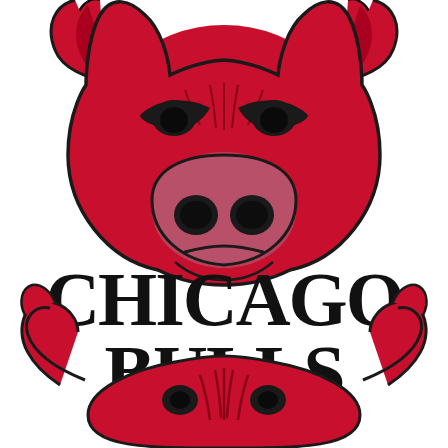[Figure (logo): Chicago Bulls NBA team logo featuring a red bull's head (front face and horns) at top, the text CHICAGO BULLS in large bold black serif letters in the middle, and the bottom half of the bull logo (horns and chest area) below. The bull is depicted in red with black outlines and details.]